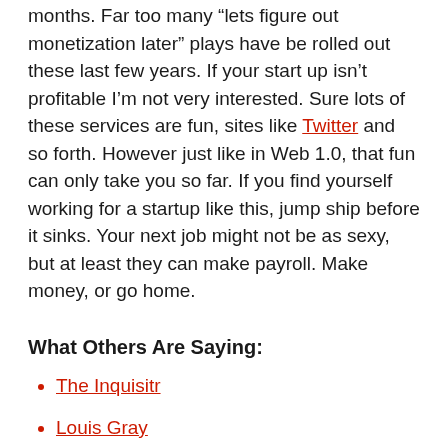months. Far too many “lets figure out monetization later” plays have be rolled out these last few years. If your start up isn’t profitable I’m not very interested. Sure lots of these services are fun, sites like Twitter and so forth. However just like in Web 1.0, that fun can only take you so far. If you find yourself working for a startup like this, jump ship before it sinks. Your next job might not be as sexy, but at least they can make payroll. Make money, or go home.
What Others Are Saying:
The Inquisitr
Louis Gray